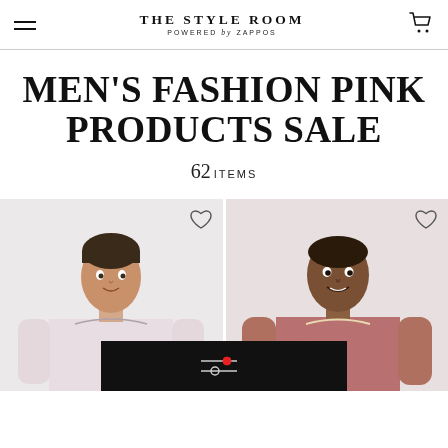THE STYLE ROOM POWERED by ZAPPOS
MEN'S FASHION PINK PRODUCTS SALE
62 ITEMS
[Figure (photo): Two male models wearing pink t-shirts on a light grey background, with heart/wishlist icons in top right corners of each tile. A dark filter bar overlays the bottom center with a filter/settings icon.]